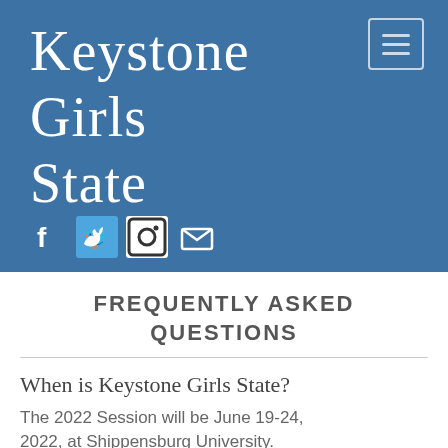[Figure (screenshot): Keystone Girls State website header banner with blue background showing the title 'Keystone Girls State' in white serif font, a menu icon in the top right corner, and social media icons (Facebook, Twitter, Instagram, Email) along the bottom left of the banner.]
FREQUENTLY ASKED QUESTIONS
When is Keystone Girls State?
The 2022 Session will be June 19-24, 2022, at Shippensburg University.